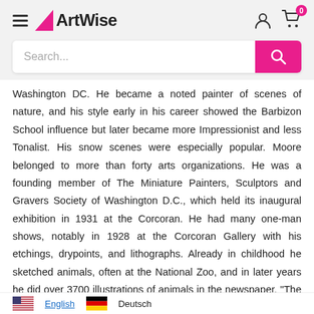ArtWise
Washington DC. He became a noted painter of scenes of nature, and his style early in his career showed the Barbizon School influence but later became more Impressionist and less Tonalist. His snow scenes were especially popular. Moore belonged to more than forty arts organizations. He was a founding member of The Miniature Painters, Sculptors and Gravers Society of Washington D.C., which held its inaugural exhibition in 1931 at the Corcoran. He had many one-man shows, notably in 1928 at the Corcoran Gallery with his etchings, drypoints, and lithographs. Already in childhood he sketched animals, often at the National Zoo, and in later years he did over 3700 illustrations of animals in the newspaper, "The Evening Star's" series entitled "Nature's Children." He also did numerous paintings for the Smithsonian that were reproduced in their "Scientific Series."
English  Deutsch